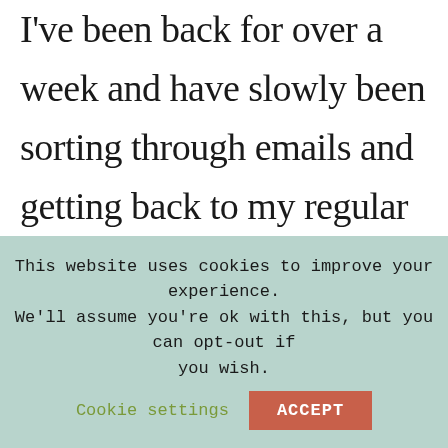I've been back for over a week and have slowly been sorting through emails and getting back to my regular routine. My work hours have changed and am now my days have become longer. Good in a sense that I'm getting more overtime pay, but bad in the sense that I'm coming home at  a later time and feeling
This website uses cookies to improve your experience. We'll assume you're ok with this, but you can opt-out if you wish. Cookie settings  ACCEPT